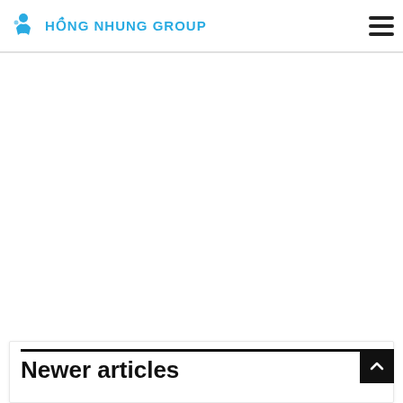HỒNG NHUNG GROUP
Newer articles